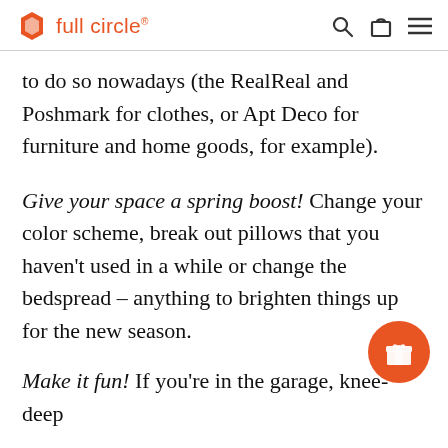full circle
to do so nowadays (the RealReal and Poshmark for clothes, or Apt Deco for furniture and home goods, for example).
Give your space a spring boost! Change your color scheme, break out pillows that you haven't used in a while or change the bedspread – anything to brighten things up for the new season.
Make it fun! If you're in the garage, knee-deep in